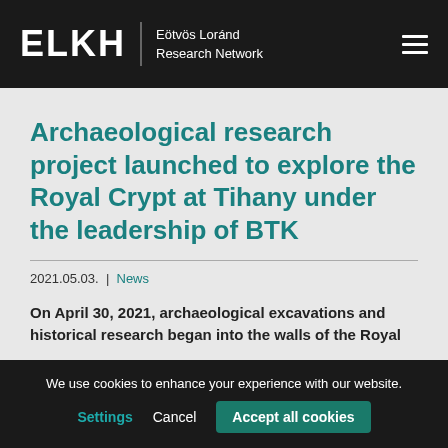ELKH | Eötvös Loránd Research Network
Archaeological research project launched to explore the Royal Crypt at Tihany under the leadership of BTK
2021.05.03. | News
On April 30, 2021, archaeological excavations and historical research began into the walls of the Royal
We use cookies to enhance your experience with our website.
Settings  Cancel  Accept all cookies